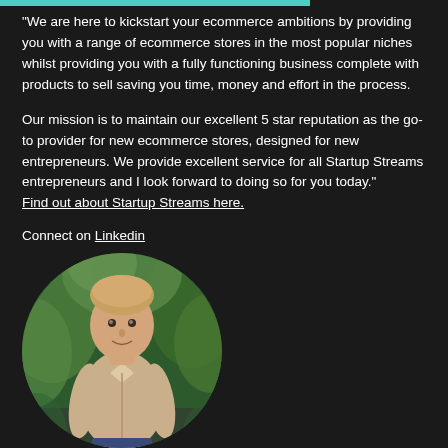“We are here to kickstart your ecommerce ambitions by providing you with a range of ecommerce stores in the most popular niches whilst providing you with a fully functioning business complete with products to sell saving you time, money and effort in the process.
Our mission is to maintain our excellent 5 star reputation as the go-to provider for new ecommerce stores, designed for new entrepreneurs. We provide excellent service for all Startup Streams entrepreneurs and I look forward to doing so for you today.”
Find out about Startup Streams here.
Connect on Linkedin
[Figure (photo): Circular cropped photo of a young man in a light beige shirt sitting outdoors with tropical green foliage in the background]